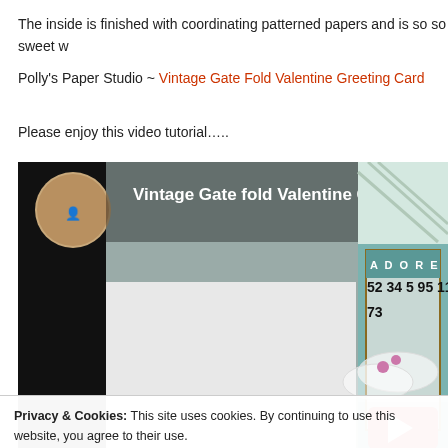The inside is finished with coordinating patterned papers and is so so sweet w
Polly's Paper Studio ~ Vintage Gate Fold Valentine Greeting Card
Please enjoy this video tutorial…..
[Figure (screenshot): YouTube video thumbnail showing 'Vintage Gate fold Valentine Greeting Card P...' with a woman's avatar, a bingo card with 'ADORE' and numbers 52 34 5 95 11, 73, and decorative craft elements with YouTube play button]
Privacy & Cookies: This site uses cookies. By continuing to use this website, you agree to their use.
To find out more, including how to control cookies, see here: Cookie Policy
Close and accept